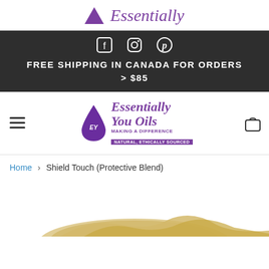Essentially
FREE SHIPPING IN CANADA FOR ORDERS > $85
[Figure (logo): Essentially You Oils logo with purple drop icon, text 'Essentially You Oils Making a Difference Natural, Ethically Sourced']
Home › Shield Touch (Protective Blend)
[Figure (photo): Partial product photo showing a golden/beige colored product at the bottom of the page]